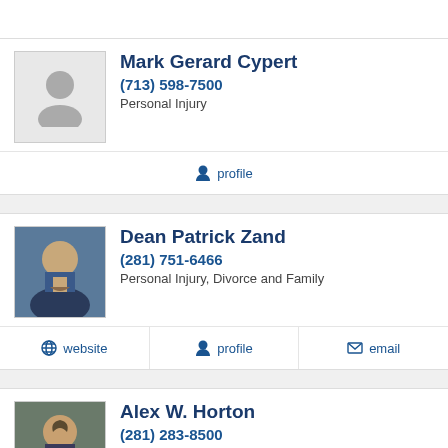Mark Gerard Cypert | (713) 598-7500 | Personal Injury | profile
Dean Patrick Zand | (281) 751-6466 | Personal Injury, Divorce and Family | website | profile | email
Alex W. Horton | (281) 283-8500